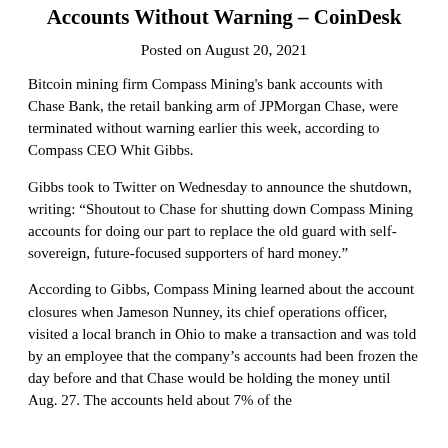Accounts Without Warning – CoinDesk
Posted on August 20, 2021
Bitcoin mining firm Compass Mining's bank accounts with Chase Bank, the retail banking arm of JPMorgan Chase, were terminated without warning earlier this week, according to Compass CEO Whit Gibbs.
Gibbs took to Twitter on Wednesday to announce the shutdown, writing: “Shoutout to Chase for shutting down Compass Mining accounts for doing our part to replace the old guard with self-sovereign, future-focused supporters of hard money.”
According to Gibbs, Compass Mining learned about the account closures when Jameson Nunney, its chief operations officer, visited a local branch in Ohio to make a transaction and was told by an employee that the company's accounts had been frozen the day before and that Chase would be holding the money until Aug. 27. The accounts held about 7% of the